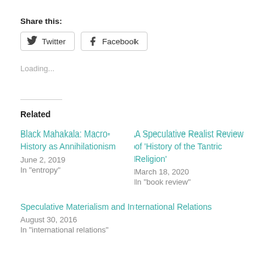Share this:
Twitter | Facebook
Loading...
Related
Black Mahakala: Macro-History as Annihilationism
June 2, 2019
In "entropy"
A Speculative Realist Review of ‘History of the Tantric Religion’
March 18, 2020
In "book review"
Speculative Materialism and International Relations
August 30, 2016
In "international relations"